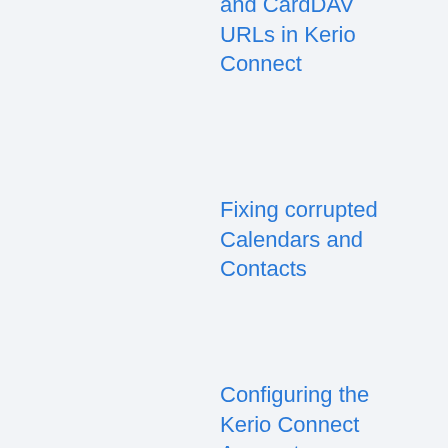and CardDAV URLs in Kerio Connect
Fixing corrupted Calendars and Contacts
Configuring the Kerio Connect Account Assistant on macOS
Configuring CalDAV/CardDAV accounts in Android
Fixing Data